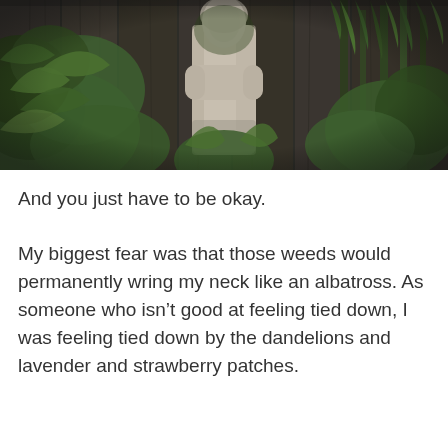[Figure (photo): Outdoor garden photograph showing a weathered stone or concrete saint/religious statue partially obscured by dense green foliage and plants against a wooden fence background. The statue appears to be wearing robes with arms crossed. Lush green leaves and tall plants surround and partially cover the figure.]
And you just have to be okay.
My biggest fear was that those weeds would permanently wring my neck like an albatross. As someone who isn’t good at feeling tied down, I was feeling tied down by the dandelions and lavender and strawberry patches.